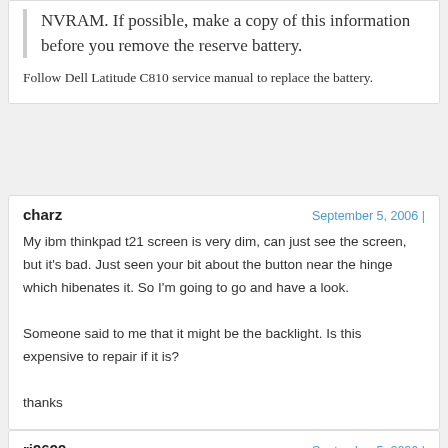NVRAM. If possible, make a copy of this information before you remove the reserve battery.
Follow Dell Latitude C810 service manual to replace the battery.
charz
September 5, 2006 |
My ibm thinkpad t21 screen is very dim, can just see the screen, but it's bad. Just seen your bit about the button near the hinge which hibenates it. So I'm going to go and have a look.

Someone said to me that it might be the backlight. Is this expensive to repair if it is?

thanks
rj9699
September 5, 2006 |